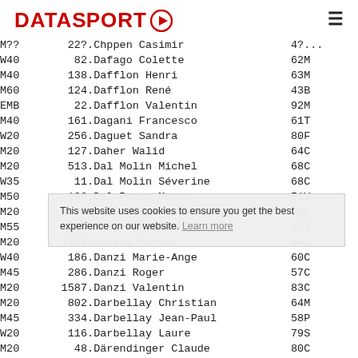DATASPORT
| Cat | Rank | Name | Num | Rest |
| --- | --- | --- | --- | --- |
| M?? | 22?. | Chppen Casimir | 4? | ... |
| W40 | 82. | Dafago Colette | 62 | M... |
| M40 | 138. | Dafflon Henri | 63 | M... |
| M60 | 124. | Dafflon René | 43 | B... |
| EMB | 22. | Dafflon Valentin | 92 | M... |
| M40 | 161. | Dagani Francesco | 61 | T... |
| W20 | 256. | Daguet Sandra | 80 | F... |
| M20 | 127. | Daher Walid | 64 | C... |
| M20 | 513. | Dal Molin Michel | 68 | C... |
| W35 | 11. | Dal Molin Séverine | 68 | C... |
| M50 | 108. | Dal Pozzo Marco | 51 | V... |
| M20 | 688. | Dall Acqua Massimo | 69 | G... |
| M55 | 161. | Dall'Agata Roberto | 45 | I... |
| M20 | 1761. | Danesi Marco | 64 | L... |
| W40 | 186. | Danzi Marie-Ange | 60 | C... |
| M45 | 286. | Danzi Roger | 57 | C... |
| M20 | 1587. | Danzi Valentin | 83 | C... |
| M20 | 802. | Darbellay Christian | 64 | M... |
| M45 | 334. | Darbellay Jean-Paul | 58 | P... |
| W20 | 116. | Darbellay Laure | 79 | S... |
| M20 | 48. | Därendinger Claude | 80 | C... |
This website uses cookies to ensure you get the best experience on our website. Learn more